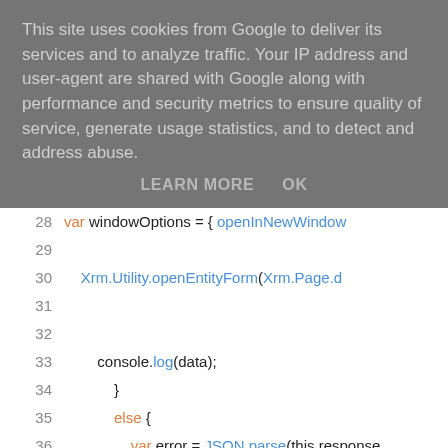This site uses cookies from Google to deliver its services and to analyze traffic. Your IP address and user-agent are shared with Google along with performance and security metrics to ensure quality of service, generate usage statistics, and to detect and address abuse.
LEARN MORE    OK
[Figure (screenshot): Code editor showing JavaScript lines 28-40 with syntax highlighting. Line 28: var windowOptions = { openInNewWindow, Line 29: blank, Line 30: Xrm.Utility.openEntityForm(Xrm.Page.d, Line 31: blank, Line 32: blank, Line 33: console.log(data);, Line 34: }, Line 35: else {, Line 36: var error = JSON.parse(this.response), Line 37: alert(error.message);, Line 38: }, Line 39: }, Line 40: };]